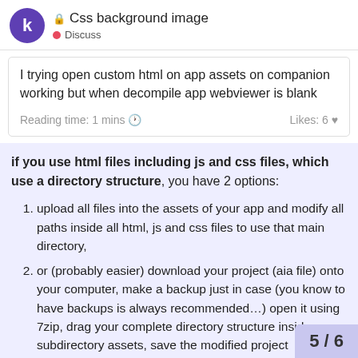Css background image / Discuss
I trying open custom html on app assets on companion working but when decompile app webviewer is blank
Reading time: 1 mins 🕐    Likes: 6 ♥
if you use html files including js and css files, which use a directory structure, you have 2 options:
upload all files into the assets of your app and modify all paths inside all html, js and css files to use that main directory,
or (probably easier) download your project (aia file) onto your computer, make a backup just in case (you know to have backups is always recommended…) open it using 7zip, drag your complete directory structure inside subdirectory assets, save the modified project  upload the modified project to Ma
5 / 6